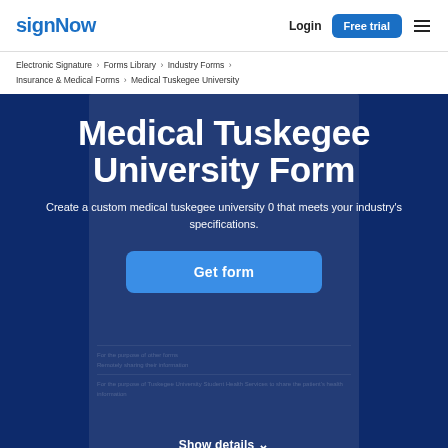signNow  Login  Free trial
Electronic Signature › Forms Library › Industry Forms › Insurance & Medical Forms › Medical Tuskegee University
Medical Tuskegee University Form
Create a custom medical tuskegee university 0 that meets your industry's specifications.
Get form
Show details